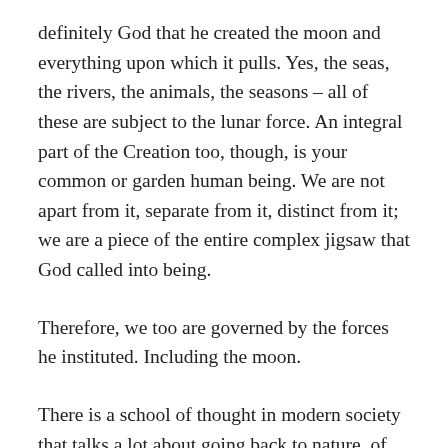definitely God that he created the moon and everything upon which it pulls. Yes, the seas, the rivers, the animals, the seasons – all of these are subject to the lunar force. An integral part of the Creation too, though, is your common or garden human being. We are not apart from it, separate from it, distinct from it; we are a piece of the entire complex jigsaw that God called into being.
Therefore, we too are governed by the forces he instituted. Including the moon.
There is a school of thought in modern society that talks a lot about going back to nature, of getting closer to the low-intensity way that our forefathers used to live. People are drawn to the idea of making things, craftsmanship and following the seasons. I know my